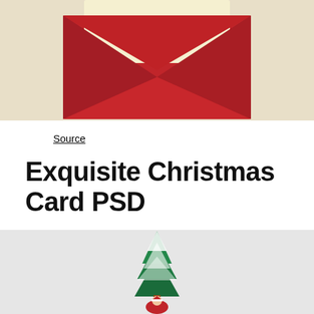[Figure (illustration): Red envelope open with a cream/beige card sticking out, on a light beige background. The card reads 'yours......']
Source
Exquisite Christmas Card PSD
[Figure (illustration): Christmas scene on light gray background showing a snow-covered Christmas tree with a Santa Claus figure at the base]